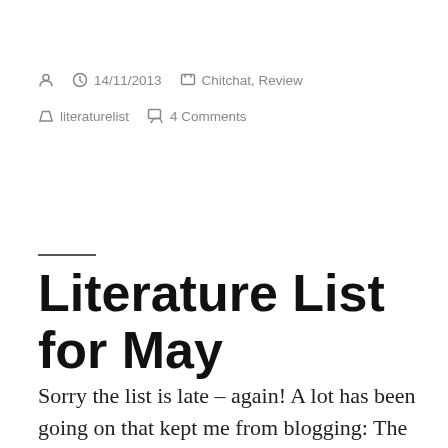14/11/2013  Chitchat, Review  literaturelist  4 Comments
Literature List for May
Sorry the list is late – again! A lot has been going on that kept me from blogging: The